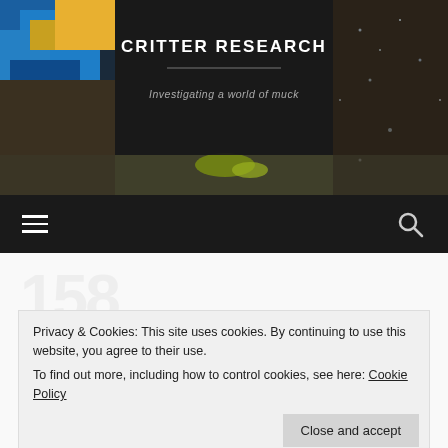[Figure (photo): Website header banner with macro nature photography background (colorful blue bird feathers/fish on left, dark sandy/pebbly substrate on right), dark semi-transparent center panel containing site title and tagline.]
CRITTER RESEARCH
Investigating a world of muck
[Figure (other): Dark navigation bar with hamburger menu icon on left and search (magnifying glass) icon on right]
New publication: Flash
Privacy & Cookies: This site uses cookies. By continuing to use this website, you agree to their use.
To find out more, including how to control cookies, see here: Cookie Policy
Close and accept